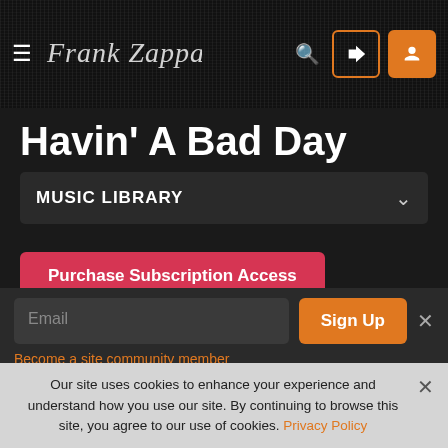Frank Zappa site header with hamburger menu, logo, search, login and account icons
Havin' A Bad Day
MUSIC LIBRARY
Purchase Subscription Access
Email
Sign Up
Become a site community member
Our site uses cookies to enhance your experience and understand how you use our site. By continuing to browse this site, you agree to our use of cookies. Privacy Policy